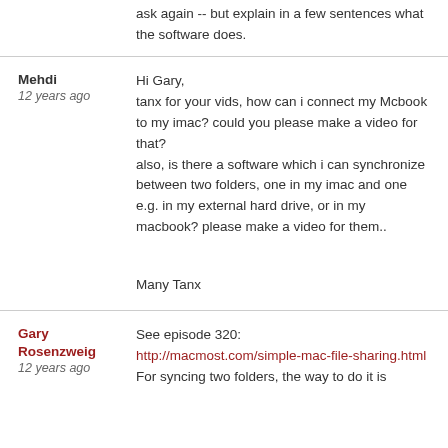ask again -- but explain in a few sentences what the software does.
Mehdi
12 years ago
Hi Gary,
tanx for your vids, how can i connect my Mcbook to my imac? could you please make a video for that?
also, is there a software which i can synchronize between two folders, one in my imac and one e.g. in my external hard drive, or in my macbook? please make a video for them..

Many Tanx
Gary Rosenzweig
12 years ago
See episode 320:
http://macmost.com/simple-mac-file-sharing.html
For syncing two folders, the way to do it is